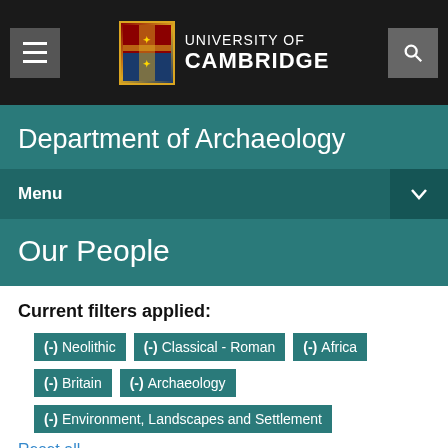UNIVERSITY OF CAMBRIDGE
Department of Archaeology
Menu
Our People
Current filters applied:
(-) Neolithic
(-) Classical - Roman
(-) Africa
(-) Britain
(-) Archaeology
(-) Environment, Landscapes and Settlement
Reset all